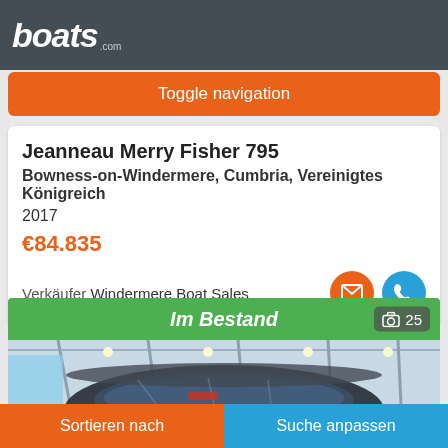boats.com
Toggle navigation
Jeanneau Merry Fisher 795
Bowness-on-Windermere, Cumbria, Vereinigtes Königreich
2017
€84.835
Verkäufer Windermere Boat Sales
Im Bestand  25
[Figure (photo): Boat interior/exterior photo showing cabin top and roof inside a warehouse/storage facility]
Sortieren nach
Suche anpassen